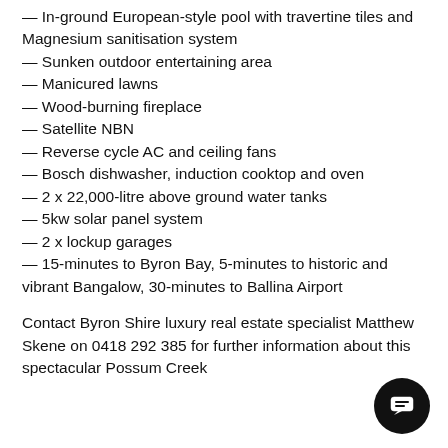— In-ground European-style pool with travertine tiles and Magnesium sanitisation system
— Sunken outdoor entertaining area
— Manicured lawns
— Wood-burning fireplace
— Satellite NBN
— Reverse cycle AC and ceiling fans
— Bosch dishwasher, induction cooktop and oven
— 2 x 22,000-litre above ground water tanks
— 5kw solar panel system
— 2 x lockup garages
— 15-minutes to Byron Bay, 5-minutes to historic and vibrant Bangalow, 30-minutes to Ballina Airport
Contact Byron Shire luxury real estate specialist Matthew Skene on 0418 292 385 for further information about this spectacular Possum Creek